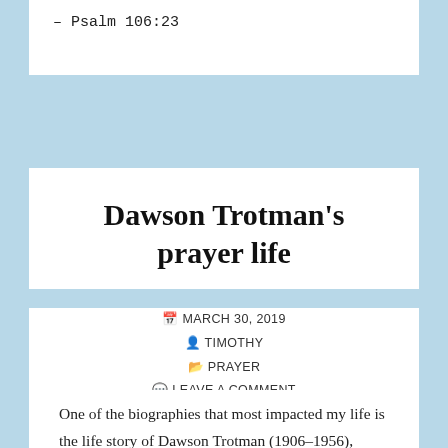– Psalm 106:23
Dawson Trotman's prayer life
📅 MARCH 30, 2019
👤 TIMOTHY
📁 PRAYER
💬 LEAVE A COMMENT
One of the biographies that most impacted my life is the life story of Dawson Trotman (1906–1956), founder of the Navigators. He was a very ordinary man with an extraordinary passion for God and prayer who launched a worldwide organization that especially left a deep